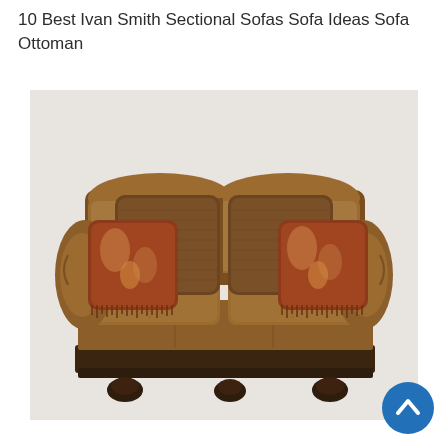10 Best Ivan Smith Sectional Sofas Sofa Ideas Sofa Ottoman
[Figure (photo): A brown leather loveseat with rolled arms, tufted seat cushions, decorative wooden bun feet, and multiple throw pillows including large brown textured pillows and smaller paisley-patterned fringed pillows.]
[Figure (other): A circular blue back-to-top button with a white upward chevron arrow icon, positioned in the bottom-right corner.]